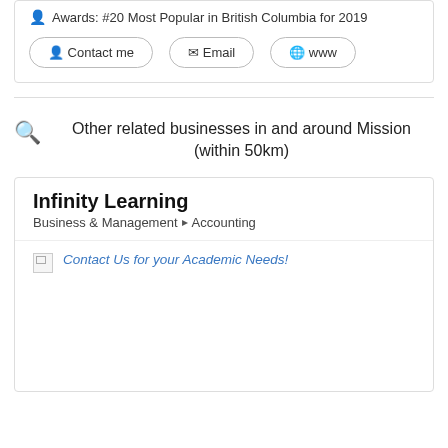Awards: #20 Most Popular in British Columbia for 2019
Contact me | Email | www
Other related businesses in and around Mission (within 50km)
Infinity Learning
Business & Management > Accounting
Contact Us for your Academic Needs!